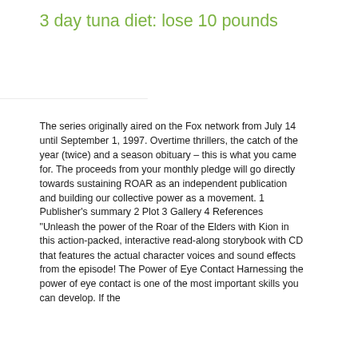3 day tuna diet: lose 10 pounds
The series originally aired on the Fox network from July 14 until September 1, 1997. Overtime thrillers, the catch of the year (twice) and a season obituary – this is what you came for. The proceeds from your monthly pledge will go directly towards sustaining ROAR as an independent publication and building our collective power as a movement. 1 Publisher's summary 2 Plot 3 Gallery 4 References "Unleash the power of the Roar of the Elders with Kion in this action-packed, interactive read-along storybook with CD that features the actual character voices and sound effects from the episode! The Power of Eye Contact Harnessing the power of eye contact is one of the most important skills you can develop. If the